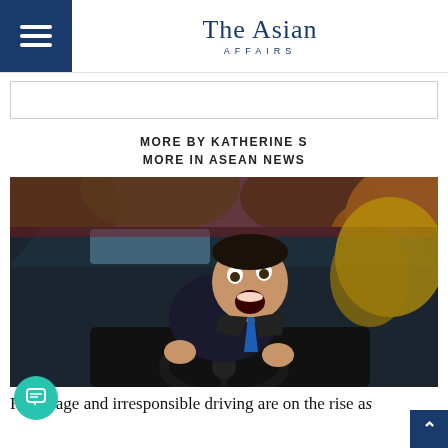The Asian AFFAIRS
[Figure (photo): Angry man in a suit sitting in a car gripping a steering wheel and screaming with mouth wide open, road rage photo]
MORE BY KATHERINE S
MORE IN ASEAN NEWS
Road rage and irresponsible driving are on the rise as